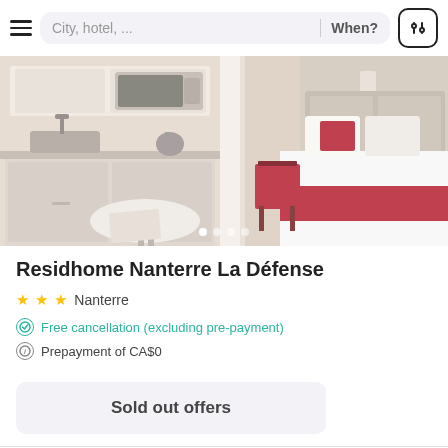City, hotel, ...   When?
[Figure (photo): Hotel room photo showing a kitchenette on the left with microwave, sink, kettle, and a small round table, and a bedroom area on the right with a white bed with red accents]
Residhome Nanterre La Défense
★★★  Nanterre
Free cancellation (excluding pre-payment)
Prepayment of CA$0
Sold out offers